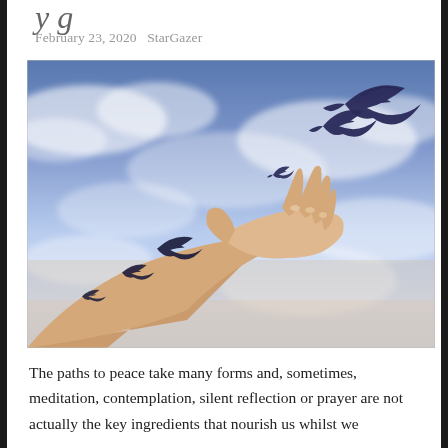y g
February 23, 2020   StarGazer
[Figure (photo): A hand reaching upward against a cloudy sky, with bird tattoos on the wrist and arm, and real birds (doves/pigeons) flying from the fingertips — symbolizing freedom and release.]
The paths to peace take many forms and, sometimes, meditation, contemplation, silent reflection or prayer are not actually the key ingredients that nourish us whilst we